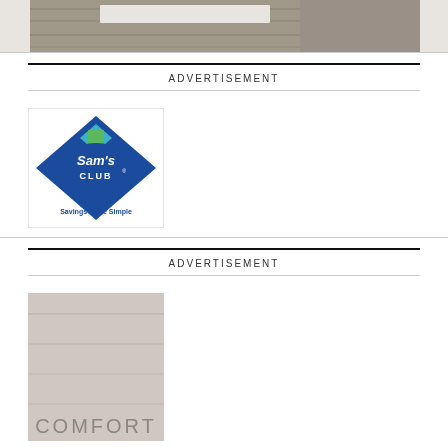[Figure (photo): Top partial photo showing a pavement/concrete surface, cropped at top of page]
ADVERTISEMENT
[Figure (logo): Sam's Club logo — blue diamond shape with 'Sam's Club' text and 'Savings Made Simple' tagline on white rectangular background]
ADVERTISEMENT
[Figure (photo): Partial bottom photo showing a light surface with the word COMFORT partially visible]